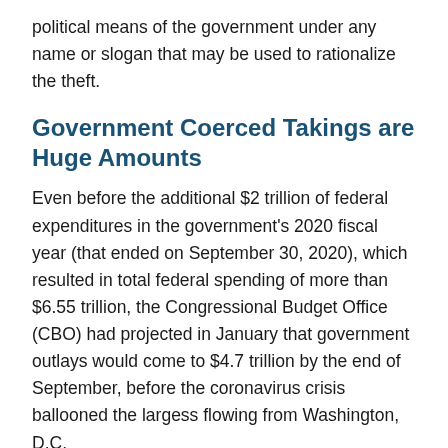political means of the government under any name or slogan that may be used to rationalize the theft.
Government Coerced Takings are Huge Amounts
Even before the additional $2 trillion of federal expenditures in the government's 2020 fiscal year (that ended on September 30, 2020), which resulted in total federal spending of more than $6.55 trillion, the Congressional Budget Office (CBO) had projected in January that government outlays would come to $4.7 trillion by the end of September, before the coronavirus crisis ballooned the largess flowing from Washington, D.C.
As it was, for fiscal year 2020, Social Security